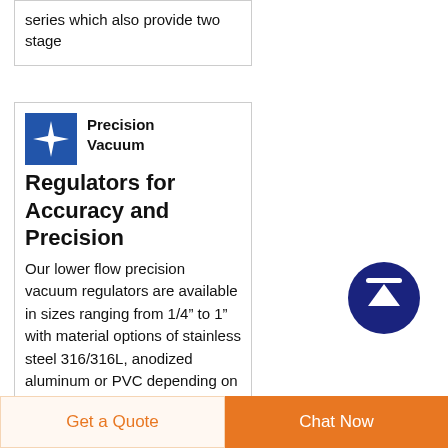series which also provide two stage
Precision Vacuum Regulators for Accuracy and Precision
Our lower flow precision vacuum regulators are available in sizes ranging from 1/4" to 1" with material options of stainless steel 316/316L, anodized aluminum or PVC depending on the application
[Figure (logo): Blue square logo with white cross/star arrow symbol]
[Figure (other): Dark blue circle with white upward arrow button]
Get a Quote
Chat Now